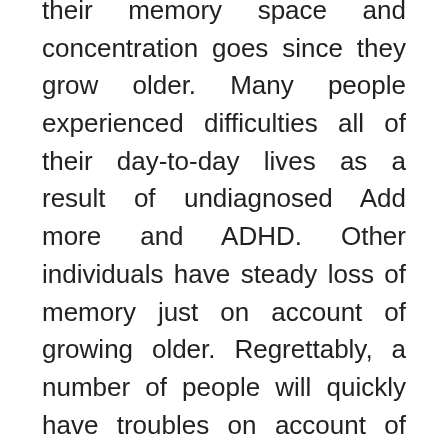their memory space and concentration goes since they grow older. Many people experienced difficulties all of their day-to-day lives as a result of undiagnosed Add more and ADHD. Other individuals have steady loss of memory just on account of growing older. Regrettably, a number of people will quickly have troubles on account of neurological degeneration inside their brains brought on by Alzheimer's and dementia. Everyone can use a small amount of increase to aid their brain tissue.
There are actually normal ways to get your mind functioning whether you are young or old. And since everyone is living lengthier, keeping these up is a lot more significant than in the past to the long term top quality-of-existence. One of the